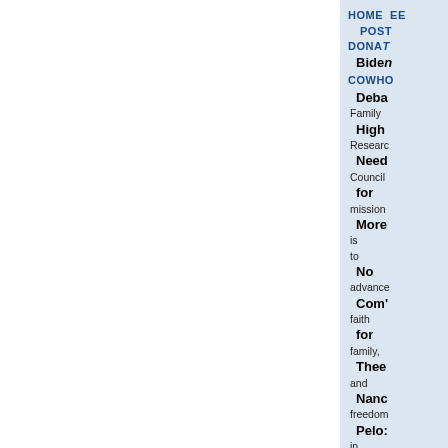HOME
POST
DONATE
Biden
CONTACT / WHO
Debate
Family
High
Research
Need
Council for mission
More
is
to No
advance Com'
faith for
family, Thee
and Nancy
freedom Pelo:
in Abor
public and
policy Past
and
the Pens
culture Abor